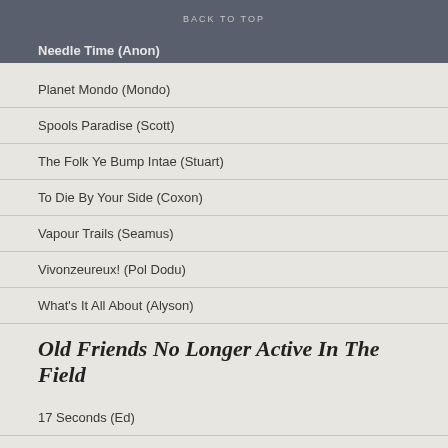BACK TO TOP
Needle Time (Anon)
Planet Mondo (Mondo)
Spools Paradise (Scott)
The Folk Ye Bump Intae (Stuart)
To Die By Your Side (Coxon)
Vapour Trails (Seamus)
Vivonzeureux! (Pol Dodu)
What's It All About (Alyson)
Old Friends No Longer Active In The Field
17 Seconds (Ed)
500 Reasons Why The 80s Didn't Suck (Uncle E)
A Sweet Unrest (Greer)